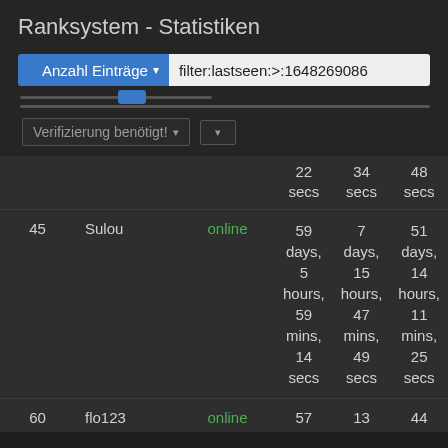Ranksystem - Statistiken
Anzahl Einträge ▾   filter:lastseen:>:1648269086
Verifizierung benötigt! ▾  ▾
| # | Name | Status | Col1 | Col2 | Col3 |
| --- | --- | --- | --- | --- | --- |
|  |  |  | 22 secs | 34 secs | 48 secs |
| 45 | Sulou | online | 59 days, 5 hours, 59 mins, 14 secs | 7 days, 15 hours, 47 mins, 49 secs | 51 days, 14 hours, 11 mins, 25 secs |
| 60 | flo123 | online | 57 | 13 | 44 |